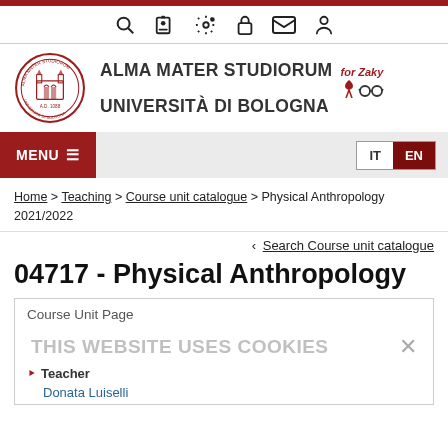[Figure (screenshot): University website navigation icon bar with search, user, settings, lock, mail, and profile icons]
[Figure (logo): Alma Mater Studiorum Università di Bologna crest logo with university name and 'for Zaky' AIDS ribbon icon]
[Figure (screenshot): MENU and IT/EN language selector navigation bar]
Home > Teaching > Course unit catalogue > Physical Anthropology 2021/2022
< Search Course unit catalogue
04717 - Physical Anthropology
Course Unit Page
THIS WEBSITE USES COOKIES
Teacher
Donata Luiselli